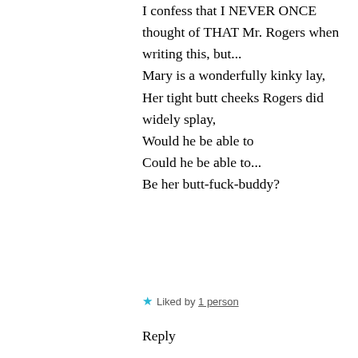I confess that I NEVER ONCE thought of THAT Mr. Rogers when writing this, but...
Mary is a wonderfully kinky lay,
Her tight butt cheeks Rogers did widely splay,
Would he be able to
Could he be able to...
Be her butt-fuck-buddy?
★ Liked by 1 person
Reply